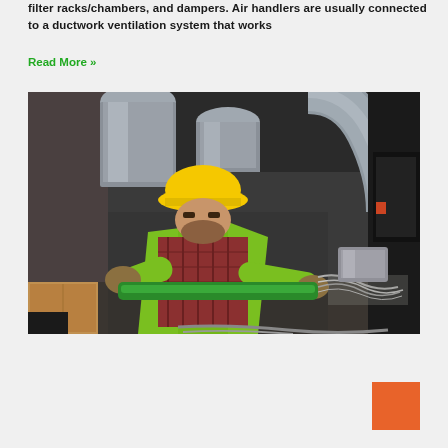filter racks/chambers, and dampers. Air handlers are usually connected to a ductwork ventilation system that works
Read More »
[Figure (photo): A worker in a yellow hard hat and green high-visibility vest working on HVAC ductwork and piping in an industrial mechanical room filled with large silver ducts and cables.]
[Figure (other): Orange/burnt-orange square decorative element in bottom right corner]